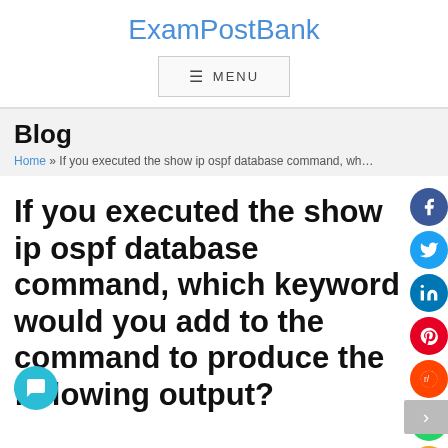ExamPostBank
≡  MENU
Blog
Home » If you executed the show ip ospf database command, wh…
If you executed the show ip ospf database command, which keyword would you add to the command to produce the following output?